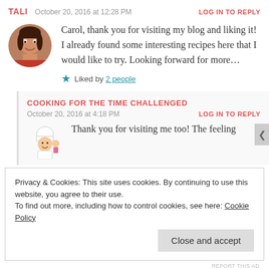TALI  October 20, 2016 at 12:28 PM  LOG IN TO REPLY
[Figure (photo): Circular avatar photo of a woman smiling]
Carol, thank you for visiting my blog and liking it! I already found some interesting recipes here that I would like to try. Looking forward for more…
★ Liked by 2 people
COOKING FOR THE TIME CHALLENGED
October 20, 2016 at 4:18 PM  LOG IN TO REPLY
[Figure (illustration): Small chef illustration logo]
Thank you for visiting me too! The feeling
Privacy & Cookies: This site uses cookies. By continuing to use this website, you agree to their use.
To find out more, including how to control cookies, see here: Cookie Policy
Close and accept